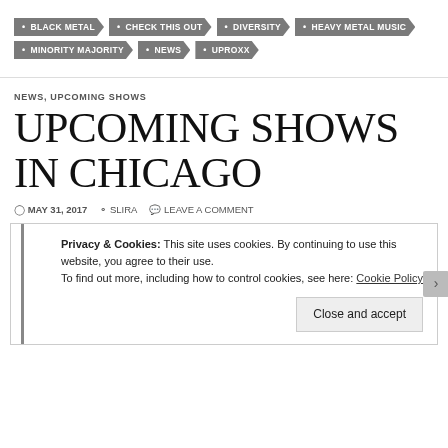BLACK METAL
CHECK THIS OUT
DIVERSITY
HEAVY METAL MUSIC
MINORITY MAJORITY
NEWS
UPROXX
NEWS, UPCOMING SHOWS
UPCOMING SHOWS IN CHICAGO
MAY 31, 2017   SLIRA   LEAVE A COMMENT
Privacy & Cookies: This site uses cookies. By continuing to use this website, you agree to their use.
To find out more, including how to control cookies, see here: Cookie Policy
Close and accept